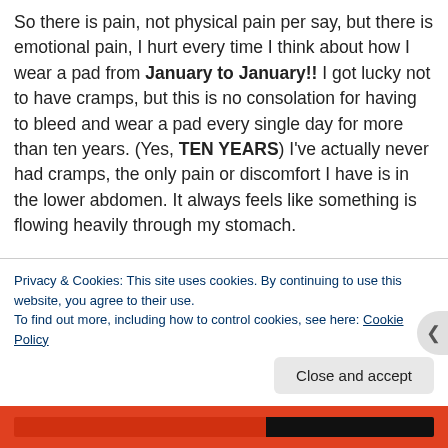So there is pain, not physical pain per say, but there is emotional pain, I hurt every time I think about how I wear a pad from January to January!! I got lucky not to have cramps, but this is no consolation for having to bleed and wear a pad every single day for more than ten years. (Yes, TEN YEARS) I've actually never had cramps, the only pain or discomfort I have is in the lower abdomen. It always feels like something is flowing heavily through my stomach.
There are days when it's so heavy, like extremely heavy
Privacy & Cookies: This site uses cookies. By continuing to use this website, you agree to their use. To find out more, including how to control cookies, see here: Cookie Policy